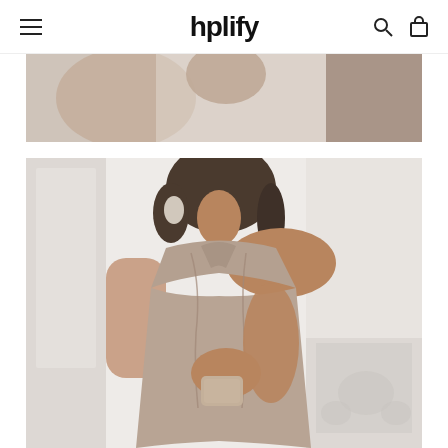hplify
[Figure (photo): Top portion of a fashion product photo showing a woman wearing a taupe/nude halter-neck draped dress, photographed in a white room setting]
[Figure (photo): Main fashion product photo: a woman with dark bob hair wearing a taupe/nude halter-neck draped dress, holding a small clutch, standing in front of a white ornate fireplace mantel]